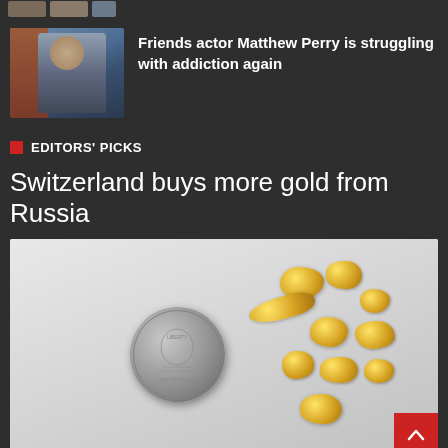[Figure (photo): Partial top strip with cropped thumbnail images]
[Figure (photo): Photo of Friends actor Matthew Perry, a man in a plaid shirt standing outdoors near a brick wall]
Friends actor Matthew Perry is struggling with addiction again
EDITORS' PICKS
Switzerland buys more gold from Russia
[Figure (photo): Photo of gold nuggets scattered next to a US quarter coin on a light grey background]